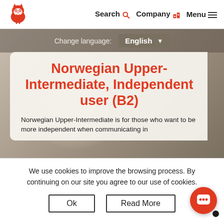Search  Company  Menu
Change language: English
Norwegian Upper-Intermediate, Independent user (B2)
Norwegian Upper-Intermediate is for those who want to be more independent when communicating in
We use cookies to improve the browsing process. By continuing on our site you agree to our use of cookies.
Ok   Read More